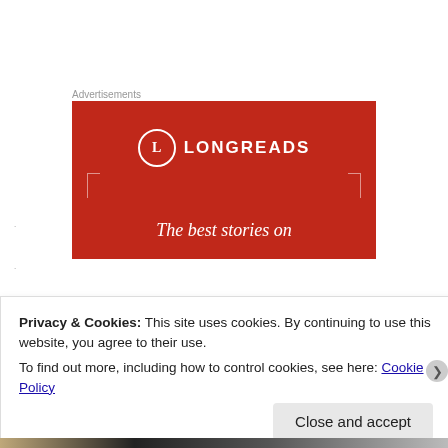Advertisements
[Figure (screenshot): Longreads advertisement banner with red background, circle logo with 'L', text 'LONGREADS' and partial tagline 'The best stories on']
Privacy & Cookies: This site uses cookies. By continuing to use this website, you agree to their use.
To find out more, including how to control cookies, see here: Cookie Policy
Close and accept